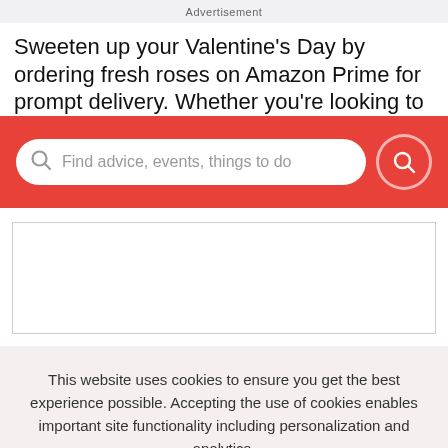Advertisement
Sweeten up your Valentine’s Day by ordering fresh roses on Amazon Prime for prompt delivery. Whether you’re looking to
[Figure (screenshot): Red search bar band with a white rounded search input field containing placeholder text 'Find advice, events, things to do' with a search icon on the left, and a red circular search button with a white magnifying glass icon on the right.]
[Figure (other): Empty content placeholder box with light gray border]
This website uses cookies to ensure you get the best experience possible. Accepting the use of cookies enables important site functionality including personalization and analytics.
Accept
Decline